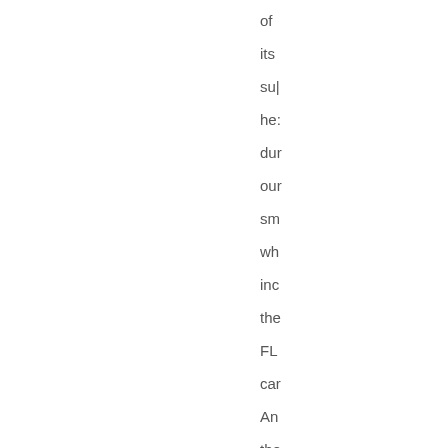of its sup he: dur our sm wh inc the FL car An the is a Ch